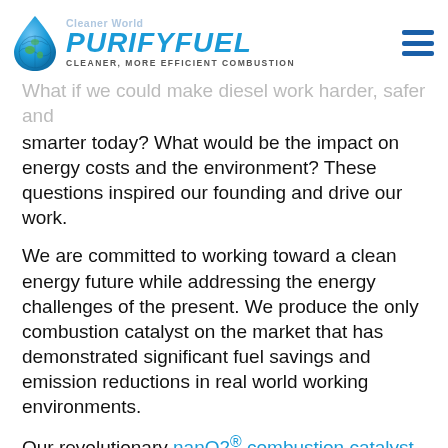Cleaner World | PURIFY FUEL | CLEANER, MORE EFFICIENT COMBUSTION
What if we could make diesel work harder, safer and smarter today? What would be the impact on energy costs and the environment? These questions inspired our founding and drive our work.
We are committed to working toward a clean energy future while addressing the energy challenges of the present. We produce the only combustion catalyst on the market that has demonstrated significant fuel savings and emission reductions in real world working environments.
Our revolutionary nanO2® combustion catalyst achieves the most complete combustion possible resulting in 6% to 12% improvement in fuel efficiency and greater than 35 - 60% reductions of harmful emissions. Thoroughly tested and guaranteed to deliver, it is the optimal, practical solution for today's